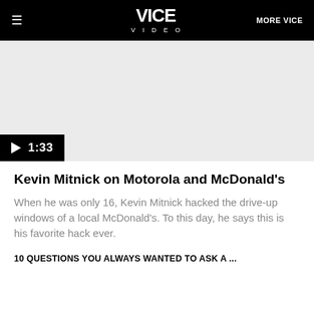VICE VIDEO | MORE VICE
[Figure (screenshot): Video thumbnail placeholder (light gray background) with a black play button bar at the bottom left showing a play triangle icon and duration 1:33]
Kevin Mitnick on Motorola and McDonald's
When he was only 16, Kevin Mitnick hacked the drive-up windows of a local McDonald's. To this day, he says this is his favorite hack ever.
10 QUESTIONS YOU ALWAYS WANTED TO ASK A ...